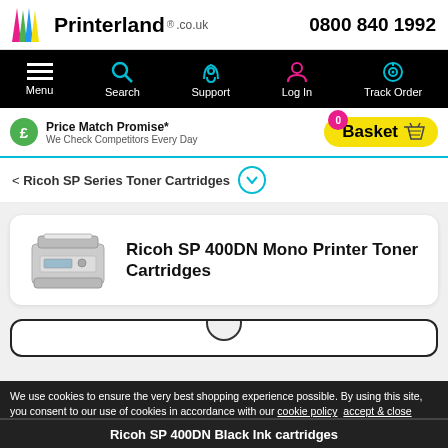Printerland.co.uk — 0800 840 1992
[Figure (screenshot): Navigation bar with Menu, Search, Support, Log In, Track Order icons on black background]
Price Match Promise* We Check Competitors Every Day
0 Basket
< Ricoh SP Series Toner Cartridges
Ricoh SP 400DN Mono Printer Toner Cartridges
[Figure (photo): Ricoh SP 400DN mono laser printer, grey/white, front-facing view]
We use cookies to ensure the very best shopping experience possible. By using this site, you consent to our use of cookies in accordance with our cookie policy  accept & close
Ricoh SP 400DN Black Ink cartridges